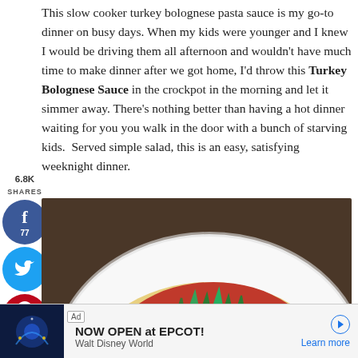This slow cooker turkey bolognese pasta sauce is my go-to dinner on busy days. When my kids were younger and I knew I would be driving them all afternoon and wouldn't have much time to make dinner after we got home, I'd throw this Turkey Bolognese Sauce in the crockpot in the morning and let it simmer away. There's nothing better than having a hot dinner waiting for you you walk in the door with a bunch of starving kids. Served simple salad, this is an easy, satisfying weeknight dinner.
[Figure (infographic): Social share sidebar with Facebook (77 shares), Twitter, Pinterest (6.7K), and Yum buttons. Share count shown as 6.8K SHARES.]
[Figure (photo): A bowl of turkey bolognese sauce served over fettuccine pasta with fresh herbs on top, on a white plate.]
Ad | NOW OPEN at EPCOT! Walt Disney World | Learn more